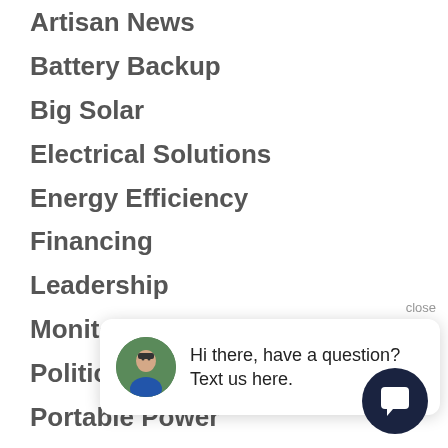Artisan News
Battery Backup
Big Solar
Electrical Solutions
Energy Efficiency
Financing
Leadership
Monitoring
Politics
Portable Power
Project Spotlight
Real Estate
close
Hi there, have a question? Text us here.